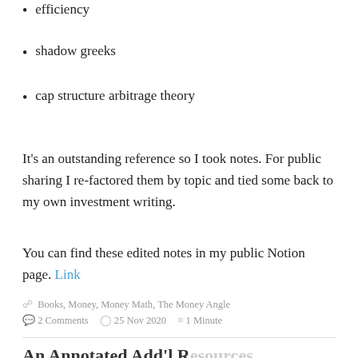efficiency
shadow greeks
cap structure arbitrage theory
It's an outstanding reference so I took notes. For public sharing I re-factored them by topic and tied some back to my own investment writing.
You can find these edited notes in my public Notion page. Link
Books , Money , Money Math , The Money Angle
2 Comments   25 Nov 2020   1 Minute
An Annotated Add'l Resources...